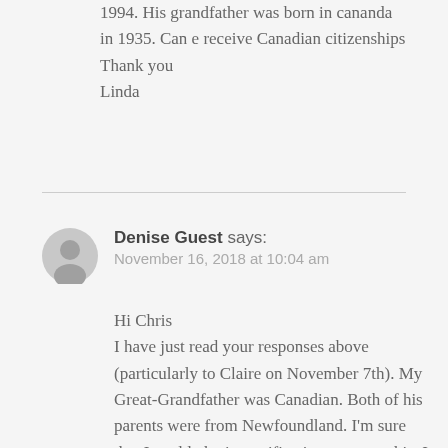1994. His grandfather was born in cananda in 1935. Can e receive Canadian citizenships
Thank you
Linda
Denise Guest says:
November 16, 2018 at 10:04 am
Hi Chris
I have just read your responses above (particularly to Claire on November 7th). My Great-Grandfather was Canadian. Both of his parents were from Newfoundland. I'm sure that I could obtain certification to prove this. I gather that my grandmother would have